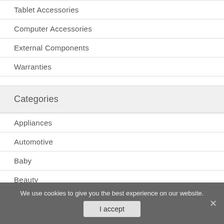Tablet Accessories
Computer Accessories
External Components
Warranties
Categories
Appliances
Automotive
Baby
Beauty
We use cookies to give you the best experience on our website.
I accept